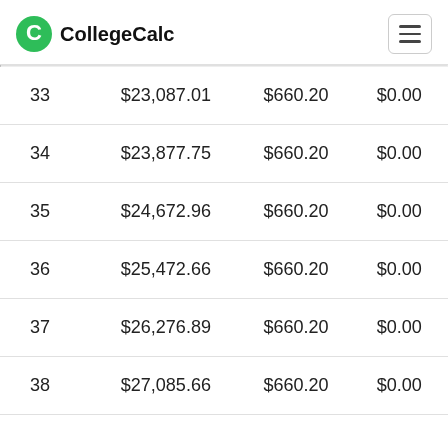CollegeCalc
| # | Balance | Payment | Extra |
| --- | --- | --- | --- |
| 33 | $23,087.01 | $660.20 | $0.00 |
| 34 | $23,877.75 | $660.20 | $0.00 |
| 35 | $24,672.96 | $660.20 | $0.00 |
| 36 | $25,472.66 | $660.20 | $0.00 |
| 37 | $26,276.89 | $660.20 | $0.00 |
| 38 | $27,085.66 | $660.20 | $0.00 |